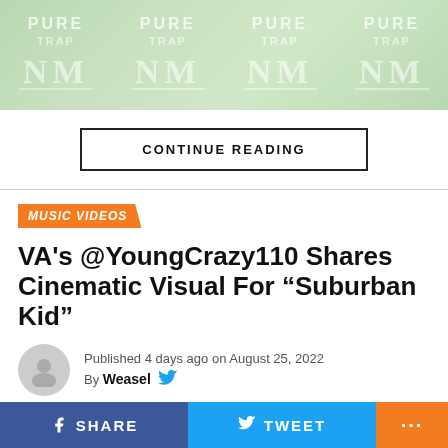[Figure (logo): Repeating banner with stylized logo text 'PURE' and 'NM' on green/light background, shown three times]
CONTINUE READING
MUSIC VIDEOS
VA's @YoungCrazy110 Shares Cinematic Visual For “Suburban Kid”
Published 4 days ago on August 25, 2022
By Weasel
[Figure (photo): Person in blue cap reaching up, outdoors with trees and sky in background]
SHARE  TWEET  ...